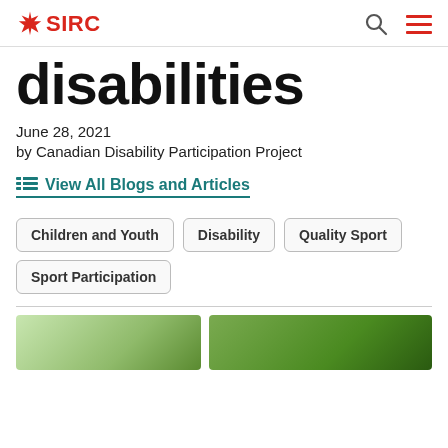SIRC
disabilities
June 28, 2021
by Canadian Disability Participation Project
View All Blogs and Articles
Children and Youth
Disability
Quality Sport
Sport Participation
[Figure (photo): Two partial images of people outdoors with greenery visible at bottom of page]